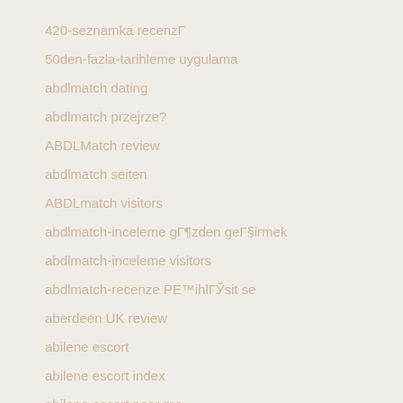420-seznamka recenzГ
50den-fazla-tarihleme uygulama
abdlmatch dating
abdlmatch przejrze?
ABDLMatch review
abdlmatch seiten
ABDLmatch visitors
abdlmatch-inceleme gГ¶zden geГ§irmek
abdlmatch-inceleme visitors
abdlmatch-recenze PE™ihlГЎsit se
aberdeen UK review
abilene escort
abilene escort index
abilene escort near me
adam4adam avis